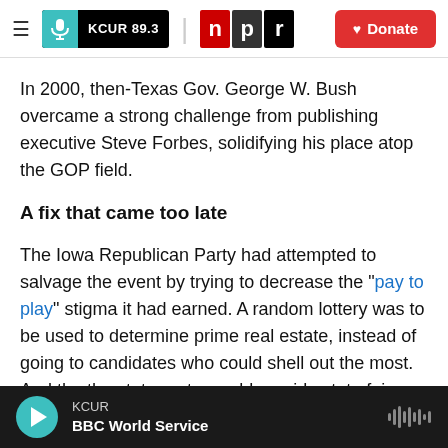KCUR 89.3 | npr | Donate
In 2000, then-Texas Gov. George W. Bush overcame a strong challenge from publishing executive Steve Forbes, solidifying his place atop the GOP field.
A fix that came too late
The Iowa Republican Party had attempted to salvage the event by trying to decrease the " pay to play" stigma it had earned. A random lottery was to be used to determine prime real estate, instead of going to candidates who could shell out the most. And the the state party would provide state fair
KCUR | BBC World Service